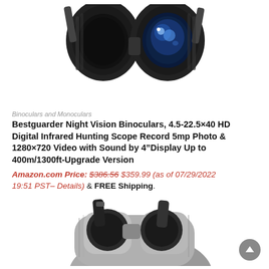[Figure (photo): Close-up photo of Bestguarder night vision binoculars showing black body with dual eyepieces, one standard lens and one with blue multi-coated lens]
Binoculars and Monoculars
Bestguarder Night Vision Binoculars, 4.5-22.5×40 HD Digital Infrared Hunting Scope Record 5mp Photo & 1280×720 Video with Sound by 4"Display Up to 400m/1300ft-Upgrade Version
Amazon.com Price: $386.56 $359.99 (as of 07/29/2022 19:51 PST– Details) & FREE Shipping.
[Figure (photo): Partial photo of a second pair of binoculars with grey/silver body and black strap visible at the bottom of the page]